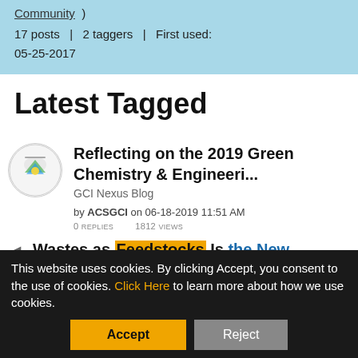Community ) 17 posts | 2 taggers | First used: 05-25-2017
Latest Tagged
Reflecting on the 2019 Green Chemistry & Engineeri...
GCI Nexus Blog
by ACSGCI on 06-18-2019 11:51 AM
0 REPLIES   1812 VIEWS
Wastes as Feedstocks Is the New Reality
This website uses cookies. By clicking Accept, you consent to the use of cookies. Click Here to learn more about how we use cookies.
Accept   Reject